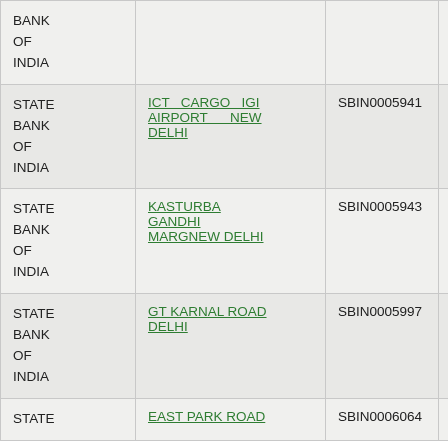| Bank | Branch | IFSC | MICR |
| --- | --- | --- | --- |
| BANK OF INDIA |  |  |  |
| STATE BANK OF INDIA | ICT CARGO IGI AIRPORT NEW DELHI | SBIN0005941 | 110002015 |
| STATE BANK OF INDIA | KASTURBA GANDHI MARGNEW DELHI | SBIN0005943 | 110002062 |
| STATE BANK OF INDIA | GT KARNAL ROAD DELHI | SBIN0005997 | 110002037 |
| STATE | EAST PARK ROAD | SBIN0006064 | 110002031 |